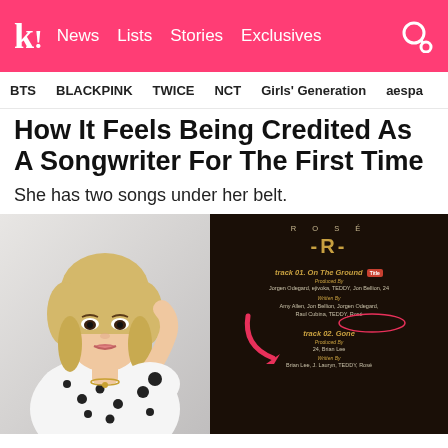k! News Lists Stories Exclusives
BTS  BLACKPINK  TWICE  NCT  Girls' Generation  aespa
How It Feels Being Credited As A Songwriter For The First Time
She has two songs under her belt.
[Figure (photo): Left: Photo of ROSÉ (BLACKPINK member) in a white polka-dot off-shoulder top with a gold necklace, blonde hair, posing against a light background. Right: Dark album credits card for ROSÉ -R- showing track 01. On The Ground (Produced By Jorgen Odegard, ejivoka, TEDDY, Jon Bellion, 24; Written By Amy Allen, Jon Bellion, Jorgen Odegard, Raul Cubina, TEDDY, Rosé — Rosé highlighted with ellipse) and track 02. Gone (Produced By 24, Brian Lee; Written By Brian Lee, J. Lauryn, TEDDY, Rosé) with a pink arrow pointing to track 02.]